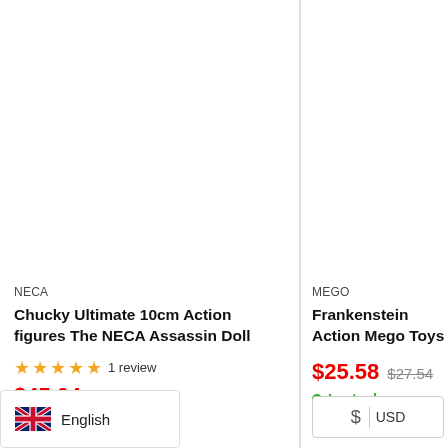NECA
Chucky Ultimate 10cm Action figures The NECA Assassin Doll
1 review
$45.04  $56.30
LE IN 5-6 BUSINESS
MEGO
Frankenstein Action Mego Toys
$25.58  $27.54
In stock
$ USD
English